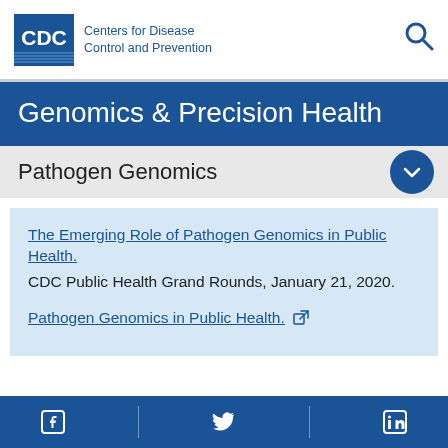CDC Centers for Disease Control and Prevention
Genomics & Precision Health
Pathogen Genomics
The Emerging Role of Pathogen Genomics in Public Health.
CDC Public Health Grand Rounds, January 21, 2020.

Pathogen Genomics in Public Health.
Facebook | Twitter | LinkedIn